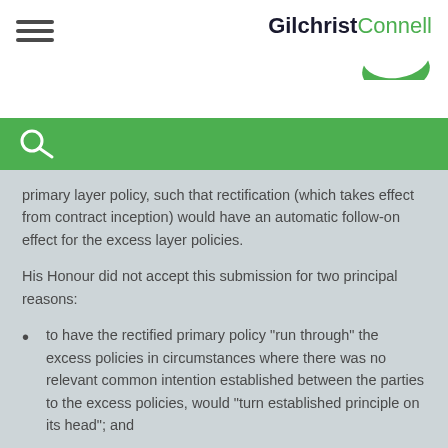Gilchrist Connell
primary layer policy, such that rectification (which takes effect from contract inception) would have an automatic follow-on effect for the excess layer policies.
His Honour did not accept this submission for two principal reasons:
to have the rectified primary policy "run through" the excess policies in circumstances where there was no relevant common intention established between the parties to the excess policies, would "turn established principle on its head"; and
his Honour would not grant equitable relief that impacted the excess insurers in this way, because